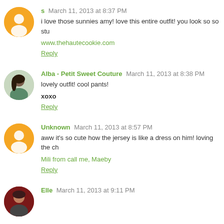s  March 11, 2013 at 8:37 PM
i love those sunnies amy! love this entire outfit! you look so so stu
www.thehautecookie.com
Reply
Alba - Petit Sweet Couture  March 11, 2013 at 8:38 PM
lovely outfit! cool pants!
xoxo
Reply
Unknown  March 11, 2013 at 8:57 PM
aww it's so cute how the jersey is like a dress on him! loving the ch
Mili from call me, Maeby
Reply
Elle  March 11, 2013 at 9:11 PM